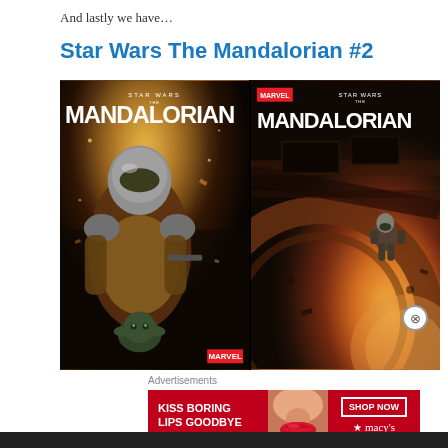And lastly we have…
Star Wars The Mandalorian #2
[Figure (illustration): Two comic book covers for Star Wars The Mandalorian #2. Left cover shows the Mandalorian in full armor holding a weapon with Grogu (Baby Yoda) visible, Marvel logo at bottom right, dark dramatic space background. Right cover shows the Mandalorian on a ship hull with a large orange/red planet or sun in the background, Marvel logo at top left.]
Advertisements
[Figure (screenshot): Advertisement banner: red background with white bold text reading 'KISS BORING LIPS GOODBYE', a woman's face with red lips in the center, and on the right 'SHOP NOW' button with Macy's star logo in white.]